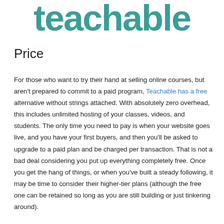[Figure (logo): Teachable logo in teal/dark cyan color, large bold text]
Price
For those who want to try their hand at selling online courses, but aren't prepared to commit to a paid program, Teachable has a free alternative without strings attached. With absolutely zero overhead, this includes unlimited hosting of your classes, videos, and students. The only time you need to pay is when your website goes live, and you have your first buyers, and then you'll be asked to upgrade to a paid plan and be charged per transaction. That is not a bad deal considering you put up everything completely free. Once you get the hang of things, or when you've built a steady following, it may be time to consider their higher-tier plans (although the free one can be retained so long as you are still building or just tinkering around).